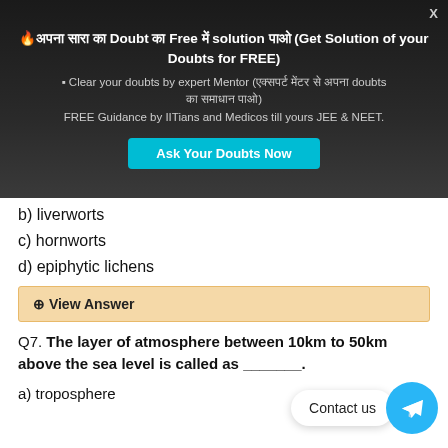[Figure (screenshot): Dark promotional banner with fire emoji, Hindi and English text promoting free doubt solving service, bullet points about expert mentors and IITians/Medicos guidance, and a cyan 'Ask Your Doubts Now' button. Close X button in top-right.]
b) liverworts
c) hornworts
d) epiphytic lichens
⊕ View Answer
Q7. The layer of atmosphere between 10km to 50km above the sea level is called as _______.
a) troposphere
[Figure (other): Telegram Contact us floating button at bottom right]